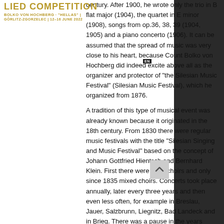LIED COMPETITION
BOLKO VON HOCHBERG · "HELLAS" | GÖRLITZ-ZGORZELEC | 12–16 JUNE 2022
century. After 1900, he wrote only the trio in B flat major (1904), the quartet in E minor (1908), songs from op.36, 38, 39 (1904, 1905) and a piano concerto (1906). It can be assumed that the spread of music was very close to his heart, because Count Bolko von Hochberg did indeed excite above all as the organizer and protector of "the Silesian Music Festival" (Silesian Music Festival), which he organized from 1876.
A tradition of this type of musical event was already known because it originated in the 18th century. From 1830 there were regular music festivals with the title "Silesian Singing and Music Festival" based on the concept of Johann Gottfried Hientsch and Bernhard Klein. First there were male choirs and only since 1835 mixed choirs. Concerts took place annually, later every three years and then even less often, for example in Breslau, Jauer, Salzbrunn, Liegnitz, Bad Landeck and in Brieg. There was a pause in the years 1856-1871. It was continued again in the summer of 1872.